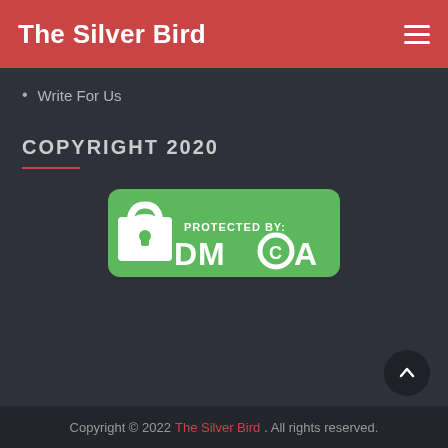The Silver Bird
Write For Us
COPYRIGHT 2020
[Figure (logo): DMCA Protected badge — green rounded rectangle with white padlock icon and text 'PROTECTED BY: DMCA']
Copyright © 2022 The Silver Bird. All rights reserved.